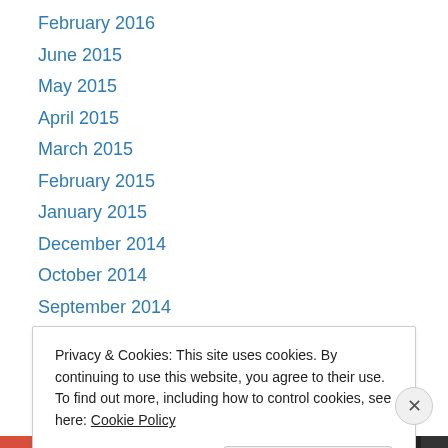February 2016
June 2015
May 2015
April 2015
March 2015
February 2015
January 2015
December 2014
October 2014
September 2014
August 2014
July 2014
June 2014
Privacy & Cookies: This site uses cookies. By continuing to use this website, you agree to their use. To find out more, including how to control cookies, see here: Cookie Policy
Close and accept